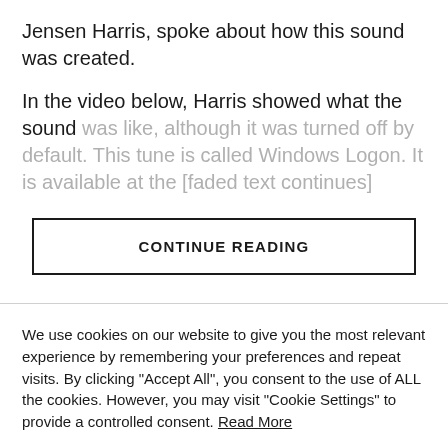Jensen Harris, spoke about how this sound was created.
In the video below, Harris showed what the sound was like, although it was turned off by default. This tune is called Windows Logon. It is available at the [faded/obscured text]
CONTINUE READING
We use cookies on our website to give you the most relevant experience by remembering your preferences and repeat visits. By clicking "Accept All", you consent to the use of ALL the cookies. However, you may visit "Cookie Settings" to provide a controlled consent. Read More
Cookie Settings
Accept All